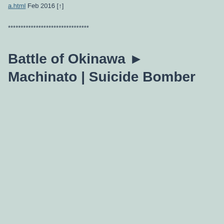a.html Feb 2016 [↑]
********************************
Battle of Okinawa ► Machinato | Suicide Bomber